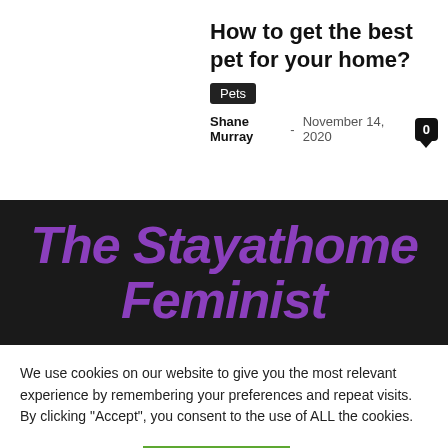How to get the best pet for your home?
Pets
Shane Murray - November 14, 2020  0
The Stayathome Feminist
We use cookies on our website to give you the most relevant experience by remembering your preferences and repeat visits. By clicking “Accept”, you consent to the use of ALL the cookies.
Cookie settings  ACCEPT